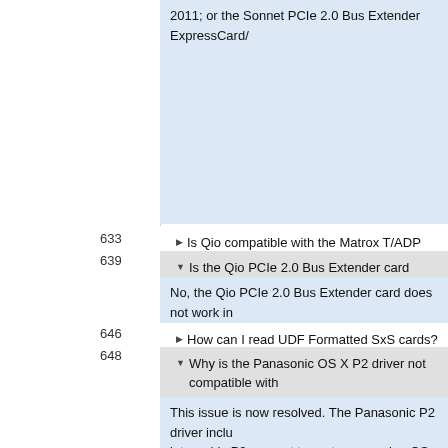2011; or the Sonnet PCIe 2.0 Bus Extender ExpressCard/
633 ▶ Is Qio compatible with the Matrox T/ADP Thunderbolt Port
639 ▼ Is the Qio PCIe 2.0 Bus Extender card compatible in all slo
No, the Qio PCIe 2.0 Bus Extender card does not work in
646 ▶ How can I read UDF Formatted SxS cards?
648 ▼ Why is the Panasonic OS X P2 driver not compatible with SATA drivers are compatible with 64-bit mode?
This issue is now resolved. The Panasonic P2 driver inclu later adds P2 support to systems running OS X in 64-bit m